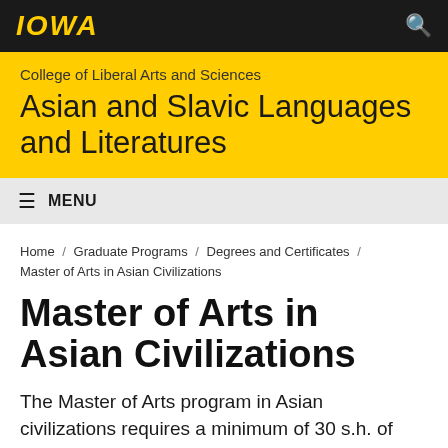IOWA
College of Liberal Arts and Sciences
Asian and Slavic Languages and Literatures
≡ MENU
Home / Graduate Programs / Degrees and Certificates / Master of Arts in Asian Civilizations
Master of Arts in Asian Civilizations
The Master of Arts program in Asian civilizations requires a minimum of 30 s.h. of